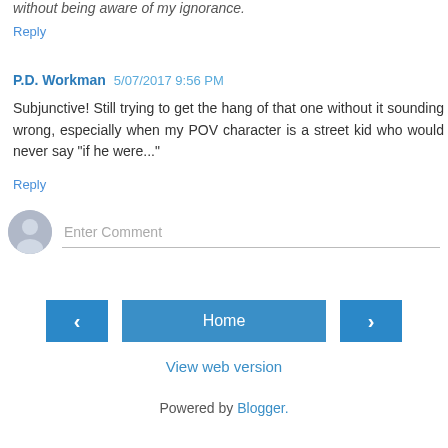without being aware of my ignorance
Reply
P.D. Workman 5/07/2017 9:56 PM
Subjunctive! Still trying to get the hang of that one without it sounding wrong, especially when my POV character is a street kid who would never say "if he were..."
Reply
Enter Comment
Home
View web version
Powered by Blogger.